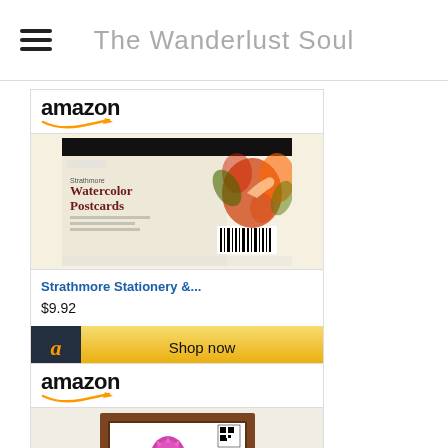The Wanderlust Soul
[Figure (screenshot): Amazon product listing for Strathmore Stationery & Watercolor Postcards priced at $9.92 with Shop now button]
[Figure (screenshot): Amazon product listing showing a framed thistle image (partially visible)]